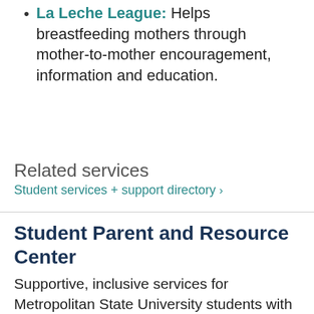La Leche League: Helps breastfeeding mothers through mother-to-mother encouragement, information and education.
Related services
Student services + support directory ›
Student Parent and Resource Center
Supportive, inclusive services for Metropolitan State University students with dependent children.